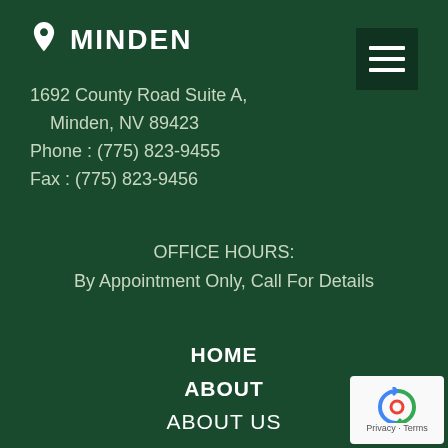MINDEN
1692 County Road Suite A,
Minden, NV 89423
Phone :  (775) 823-9455
Fax :  (775) 823-9456
OFFICE HOURS:
By Appointment Only, Call For Details
HOME
ABOUT
ABOUT US
COMMUNITIES WE SERVE
SERVICES
ESTATE PLANNING
ASSET PROTECTION
[Figure (logo): reCAPTCHA logo with Privacy · Terms text]